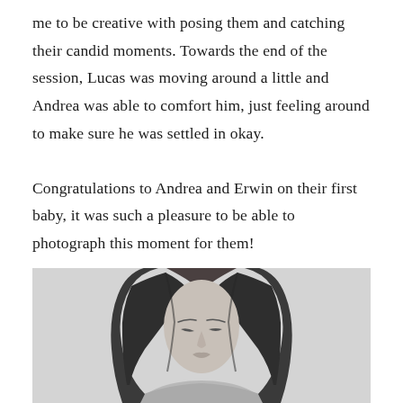me to be creative with posing them and catching their candid moments. Towards the end of the session, Lucas was moving around a little and Andrea was able to comfort him, just feeling around to make sure he was settled in okay.

Congratulations to Andrea and Erwin on their first baby, it was such a pleasure to be able to photograph this moment for them!
[Figure (photo): Black and white portrait photo of a woman with long dark wavy hair, head tilted downward, shown from approximately the shoulders up against a light grey background.]